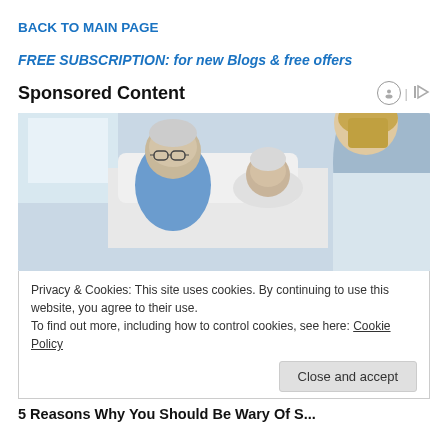BACK TO MAIN PAGE
FREE SUBSCRIPTION: for new Blogs & free offers
Sponsored Content
[Figure (photo): An older woman lying in a hospital bed, an older man sitting beside her, and a female healthcare professional (doctor/nurse) with blonde hair viewed from behind, in a clinical setting.]
Privacy & Cookies: This site uses cookies. By continuing to use this website, you agree to their use.
To find out more, including how to control cookies, see here: Cookie Policy
Close and accept
5 Reasons Why You Should Be Wary Of S...